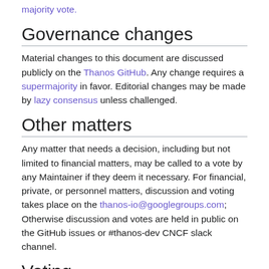majority vote.
Governance changes
Material changes to this document are discussed publicly on the Thanos GitHub. Any change requires a supermajority in favor. Editorial changes may be made by lazy consensus unless challenged.
Other matters
Any matter that needs a decision, including but not limited to financial matters, may be called to a vote by any Maintainer if they deem it necessary. For financial, private, or personnel matters, discussion and voting takes place on the thanos-io@googlegroups.com; Otherwise discussion and votes are held in public on the GitHub issues or #thanos-dev CNCF slack channel.
Voting